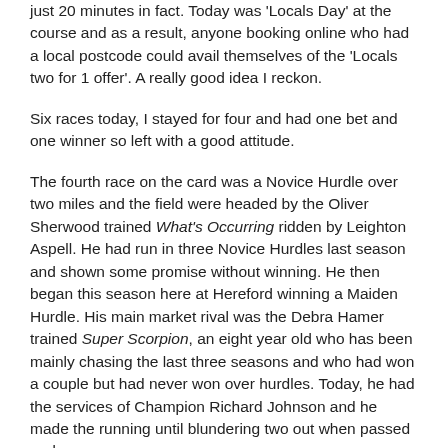just 20 minutes in fact. Today was 'Locals Day' at the course and as a result, anyone booking online who had a local postcode could avail themselves of the 'Locals two for 1 offer'. A really good idea I reckon.
Six races today, I stayed for four and had one bet and one winner so left with a good attitude.
The fourth race on the card was a Novice Hurdle over two miles and the field were headed by the Oliver Sherwood trained What's Occurring ridden by Leighton Aspell. He had run in three Novice Hurdles last season and shown some promise without winning. He then began this season here at Hereford winning a Maiden Hurdle. His main market rival was the Debra Hamer trained Super Scorpion, an eight year old who has been mainly chasing the last three seasons and who had won a couple but had never won over hurdles. Today, he had the services of Champion Richard Johnson and he made the running until blundering two out when passed and